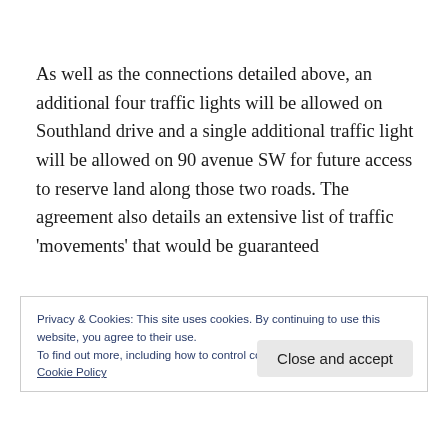As well as the connections detailed above, an additional four traffic lights will be allowed on Southland drive and a single additional traffic light will be allowed on 90 avenue SW for future access to reserve land along those two roads. The agreement also details an extensive list of traffic ‘movements’ that would be guaranteed
Privacy & Cookies: This site uses cookies. By continuing to use this website, you agree to their use.
To find out more, including how to control cookies, see here:
Cookie Policy
Close and accept